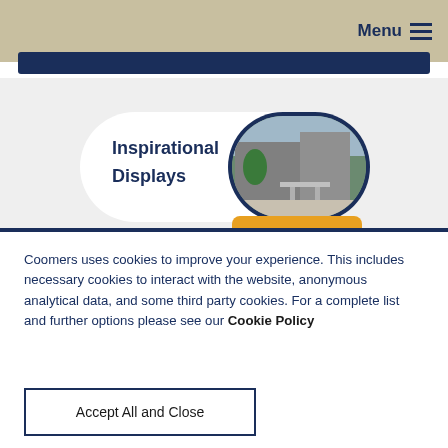Menu ≡
[Figure (screenshot): Inspirational Displays card with outdoor patio photo, blue border, white pill-shaped card on grey background]
Coomers uses cookies to improve your experience. This includes necessary cookies to interact with the website, anonymous analytical data, and some third party cookies. For a complete list and further options please see our Cookie Policy
Accept All and Close